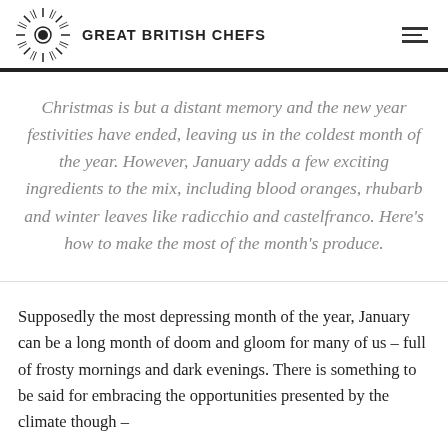GREAT BRITISH CHEFS
Christmas is but a distant memory and the new year festivities have ended, leaving us in the coldest month of the year. However, January adds a few exciting ingredients to the mix, including blood oranges, rhubarb and winter leaves like radicchio and castelfranco. Here's how to make the most of the month's produce.
Supposedly the most depressing month of the year, January can be a long month of doom and gloom for many of us – full of frosty mornings and dark evenings. There is something to be said for embracing the opportunities presented by the climate though –